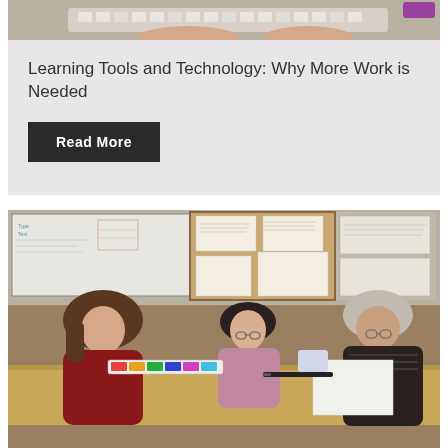[Figure (photo): Top portion of a person using a laptop/keyboard, partially visible at top of page]
Learning Tools and Technology: Why More Work is Needed
Read More
[Figure (photo): Three people (two women and one older woman with glasses) sitting around a table in what appears to be a classroom or workshop setting, with papers and whiteboards on the wall behind them and classroom materials on the table]